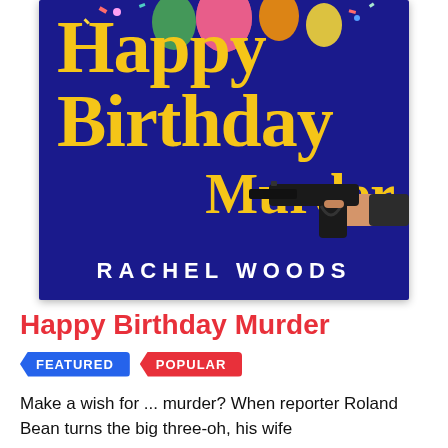[Figure (illustration): Book cover for 'Happy Birthday Murder' by Rachel Woods. Dark blue/navy background with large yellow serif text reading 'Happy Birthday' and 'Murder'. A hand holding a gun is visible in the lower right. Colorful confetti/balloons at the top. Author name 'RACHEL WOODS' in white spaced capitals at the bottom.]
Happy Birthday Murder
FEATURED   POPULAR
Make a wish for ... murder? When reporter Roland Bean turns the big three-oh, his wife